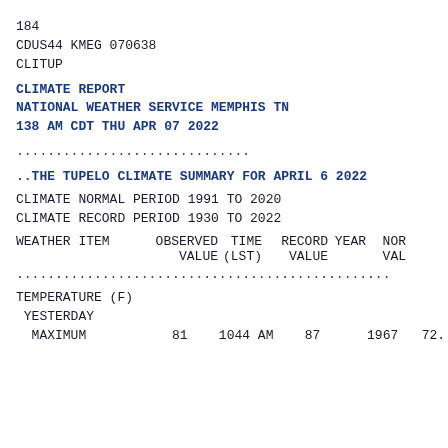184
CDUS44 KMEG 070638
CLITUP
CLIMATE REPORT
NATIONAL WEATHER SERVICE MEMPHIS TN
138 AM CDT THU APR 07 2022
..............................
..THE TUPELO CLIMATE SUMMARY FOR APRIL 6 2022
CLIMATE NORMAL PERIOD 1991 TO 2020
CLIMATE RECORD PERIOD 1930 TO 2022
| WEATHER ITEM | OBSERVED VALUE | TIME (LST) | RECORD VALUE | YEAR | NOR VAL |
| --- | --- | --- | --- | --- | --- |
| TEMPERATURE (F) |  |  |  |  |  |
| YESTERDAY |  |  |  |  |  |
| MAXIMUM | 81 | 1044 AM | 87 | 1967 | 72... |
..............................
TEMPERATURE (F)
 YESTERDAY
  MAXIMUM           81    1044 AM    87      1967   72...